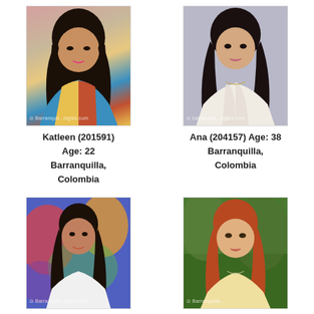[Figure (photo): Profile photo of Katleen, young woman with dark hair, colorful top]
Katleen (201591)
Age: 22
Barranquilla,
Colombia
[Figure (photo): Profile photo of Ana, woman with long dark hair, white top]
Ana (204157) Age: 38
Barranquilla,
Colombia
[Figure (photo): Profile photo of woman with dark hair, white dress, colorful background]
[Figure (photo): Profile photo of woman with red/auburn hair, outdoor setting]